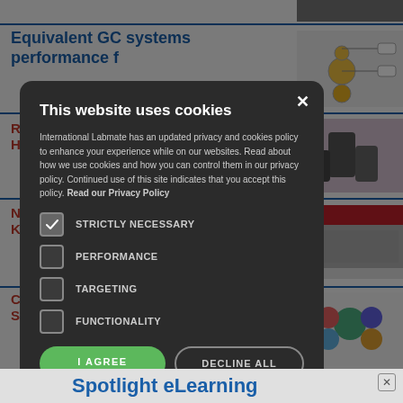Equivalent GC systems performance f
[Figure (screenshot): Background website page showing article thumbnails and navigation]
[Figure (other): Cookie consent modal dialog on dark overlay with title 'This website uses cookies', privacy text, checkboxes for STRICTLY NECESSARY (checked), PERFORMANCE, TARGETING, FUNCTIONALITY, and two buttons: I AGREE and DECLINE ALL]